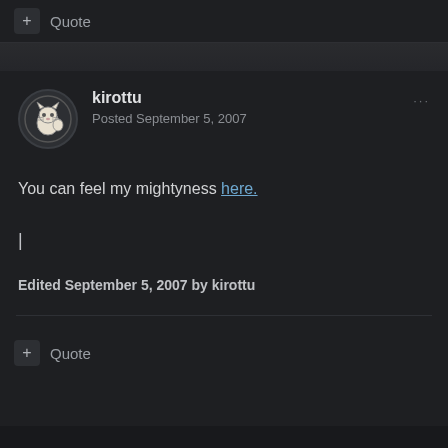+ Quote
kirottu
Posted September 5, 2007
You can feel my mightyness here.
|
Edited September 5, 2007 by kirottu
+ Quote